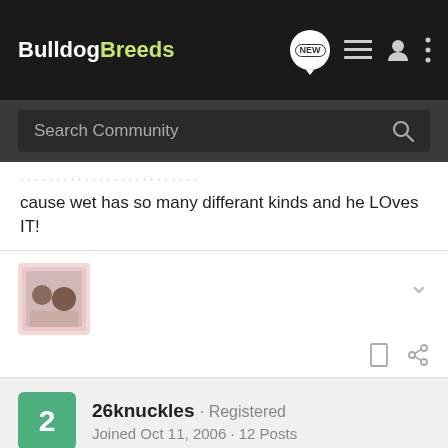[Figure (screenshot): BulldogBreeds website navigation bar with logo, NEW badge, list icon, user icon, and more icon]
[Figure (screenshot): Search Community search bar on dark background]
cause wet has so many differant kinds and he LOves IT!
[Figure (photo): User avatar thumbnail showing small image of bulldogs]
26knuckles · Registered
Joined Oct 11, 2006 · 12 Posts
#16 · Oct 11, 2006
thanks shay
i had ben reading the breeding forum lots of flaming going on